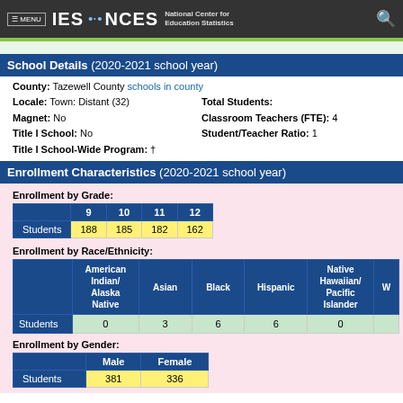≡ MENU  IES · NCES  National Center for Education Statistics
School Details (2020-2021 school year)
County: Tazewell County schools in county
Locale: Town: Distant (32)
Magnet: No
Title I School: No
Title I School-Wide Program: †
Total Students:
Classroom Teachers (FTE): 4
Student/Teacher Ratio: 1
Enrollment Characteristics (2020-2021 school year)
Enrollment by Grade:
|  | 9 | 10 | 11 | 12 |
| --- | --- | --- | --- | --- |
| Students | 188 | 185 | 182 | 162 |
Enrollment by Race/Ethnicity:
|  | American Indian/ Alaska Native | Asian | Black | Hispanic | Native Hawaiian/ Pacific Islander | W |
| --- | --- | --- | --- | --- | --- | --- |
| Students | 0 | 3 | 6 | 6 | 0 |  |
Enrollment by Gender:
|  | Male | Female |
| --- | --- | --- |
| Students | 381 | 336 |